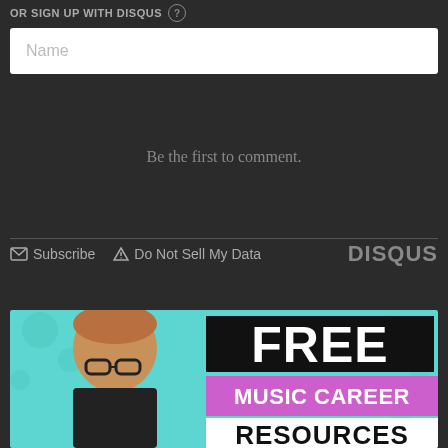OR SIGN UP WITH DISQUS ?
Name
Be the first to comment.
Subscribe  Do Not Sell My Data  DISQUS
[Figure (illustration): Advertisement banner with a young person wearing glasses against a teal floral background with text: FREE MUSIC CAREER RESOURCES]